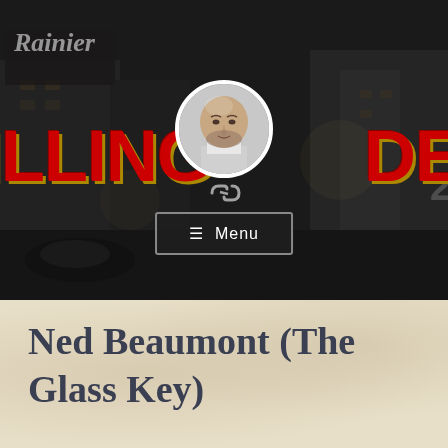[Figure (screenshot): Website header for a detective-themed blog showing a dark city street background with 'ILLING DETECT' text in large red letters with gold shadow, a circular avatar photo of a bald man with beard, chain/link icons, and a Menu button.]
Ned Beaumont (The Glass Key)